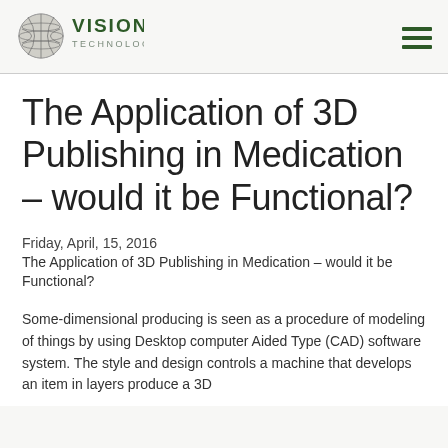[Figure (logo): Vision Technologies Inc. logo with globe/sphere icon and green text]
The Application of 3D Publishing in Medication – would it be Functional?
Friday, April, 15, 2016
The Application of 3D Publishing in Medication – would it be Functional?
Some-dimensional producing is seen as a procedure of modeling of things by using Desktop computer Aided Type (CAD) software system. The style and design controls a machine that develops an item in layers produce a 3D...